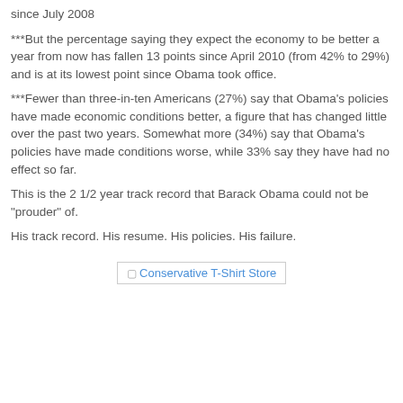since July 2008
***But the percentage saying they expect the economy to be better a year from now has fallen 13 points since April 2010 (from 42% to 29%) and is at its lowest point since Obama took office.
***Fewer than three-in-ten Americans (27%) say that Obama's policies have made economic conditions better, a figure that has changed little over the past two years. Somewhat more (34%) say that Obama's policies have made conditions worse, while 33% say they have had no effect so far.
This is the 2 1/2 year track record that Barack Obama could not be "prouder" of.
His track record. His resume. His policies. His failure.
[Figure (other): Conservative T-Shirt Store image link/banner]